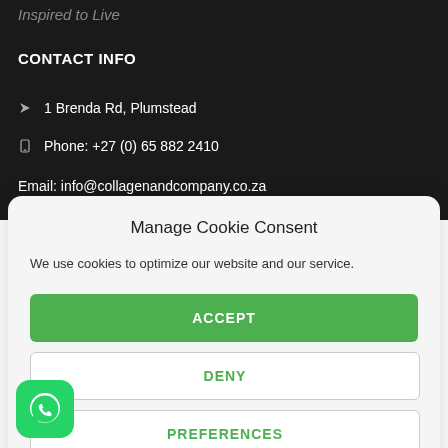Inspired to Live
CONTACT INFO
1 Brenda Rd, Plumstead
Phone: +27 (0) 65 882 2410
Email: info@collagenandcompany.co.za
Manage Cookie Consent
We use cookies to optimize our website and our service.
ACCEPT
DENY
PREFERENCES
[Figure (logo): WhatsApp icon — green rounded square with white speech bubble phone icon]